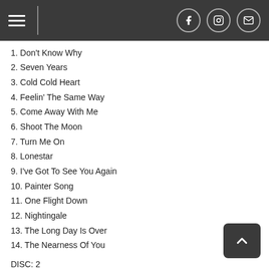Navigation header with hamburger menu, Facebook, Instagram, and email icons
1. Don't Know Why
2. Seven Years
3. Cold Cold Heart
4. Feelin' The Same Way
5. Come Away With Me
6. Shoot The Moon
7. Turn Me On
8. Lonestar
9. I've Got To See You Again
10. Painter Song
11. One Flight Down
12. Nightingale
13. The Long Day Is Over
14. The Nearness Of You
DISC: 2
1. Spring Can Really Hang You Up The Most
2. Walkin' My Baby Back Home
3. World Of Trouble